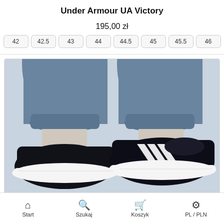Under Armour UA Victory
195,00 zł
42
42.5
43
44
44.5
45
45.5
46
[Figure (photo): Black athletic sneakers with white stripes and white sole, worn with blue jogger pants, shown from behind/side angle]
Start | Szukaj | Koszyk | PL / PLN